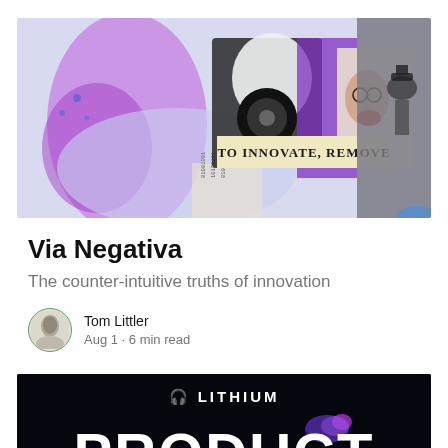[Figure (illustration): Collage-style illustration mixing elements: purple watercolor shapes, binary code text, the phrase 'TO INNOVATE, REMOVE' on a tan/yellow banner, a woman with glasses in vintage style, and a historical black-and-white battle scene on the right.]
Via Negativa
The counter-intuitive truths of innovation
Tom Littler
Aug 1 · 6 min read
[Figure (screenshot): Dark background image showing 'LITHIUM' brand logo with headphones icon at top and large bold text 'PRODUCT' at bottom, partially cropped.]